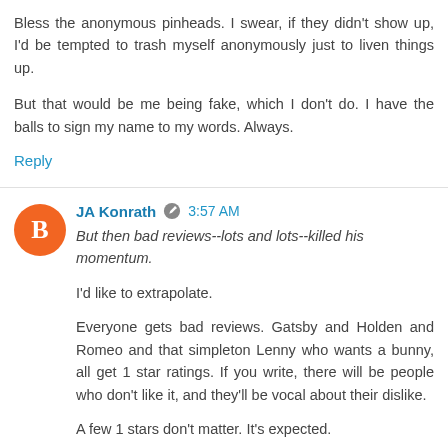Bless the anonymous pinheads. I swear, if they didn't show up, I'd be tempted to trash myself anonymously just to liven things up.
But that would be me being fake, which I don't do. I have the balls to sign my name to my words. Always.
Reply
JA Konrath  3:57 AM
But then bad reviews--lots and lots--killed his momentum.
I'd like to extrapolate.
Everyone gets bad reviews. Gatsby and Holden and Romeo and that simpleton Lenny who wants a bunny, all get 1 star ratings. If you write, there will be people who don't like it, and they'll be vocal about their dislike.
A few 1 stars don't matter. It's expected.